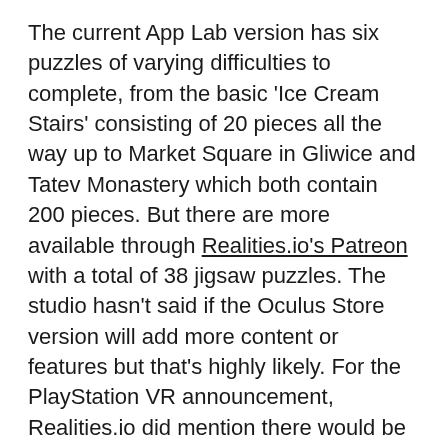The current App Lab version has six puzzles of varying difficulties to complete, from the basic 'Ice Cream Stairs' consisting of 20 pieces all the way up to Market Square in Gliwice and Tatev Monastery which both contain 200 pieces. But there are more available through Realities.io's Patreon with a total of 38 jigsaw puzzles. The studio hasn't said if the Oculus Store version will add more content or features but that's highly likely. For the PlayStation VR announcement, Realities.io did mention there would be more content as well as a multiple difficulty feature for each jigsaw.
Great if you're after a fairly casual, laid back VR experience, Puzzling Places' jigsaws are all in 3D. Consisting of a varied assortment of pieces, each puzzle is a hyper-realistic miniature of a real-world location which have been scanned and created using